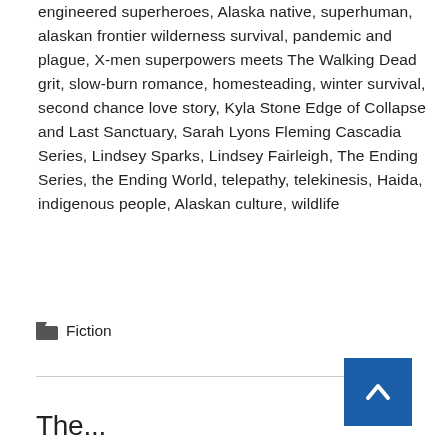engineered superheroes, Alaska native, superhuman, alaskan frontier wilderness survival, pandemic and plague, X-men superpowers meets The Walking Dead grit, slow-burn romance, homesteading, winter survival, second chance love story, Kyla Stone Edge of Collapse and Last Sanctuary, Sarah Lyons Fleming Cascadia Series, Lindsey Sparks, Lindsey Fairleigh, The Ending Series, the Ending World, telepathy, telekinesis, Haida, indigenous people, Alaskan culture, wildlife
Fiction
The...